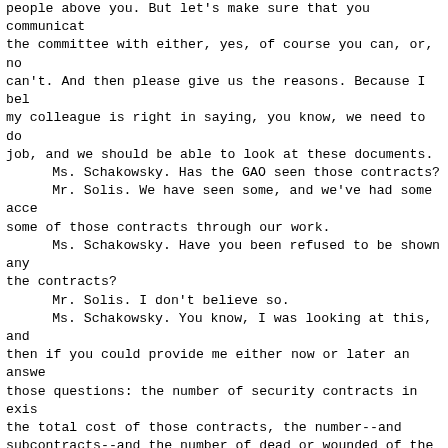people above you. But let's make sure that you communicate the committee with either, yes, of course you can, or, no can't. And then please give us the reasons. Because I bel my colleague is right in saying, you know, we need to do job, and we should be able to look at these documents.
    Ms. Schakowsky. Has the GAO seen those contracts?
    Mr. Solis. We have seen some, and we've had some acce some of those contracts through our work.
    Ms. Schakowsky. Have you been refused to be shown any the contracts?
    Mr. Solis. I don't believe so.
    Ms. Schakowsky. You know, I was looking at this, and then if you could provide me either now or later an answe those questions: the number of security contracts in exis the total cost of those contracts, the number--and subcontracts--and the number of dead or wounded of the contractors, laws broken, disciplinary actions and contra excess of $100 million. Can I get those from each of you you answer me affirmatively?
    Mr. Kunder. Yes.
    Mr. Starr. Yes. In fact, I just didn't copy down all questions quite that fast.
    Ms. Schakowsky. I will get that to you.
    Mr. Assad. Yes, ma'am. We will respond. I will take t question for the record.
    Mr. Schakowsky. Also, Mr. Assad, I am looking at----
    Mr. Shays. If the gentlelady will suspend, and she wi have time. I realize I am jumping in here. Just be clear the questions you've asked again, if you would just ask t again, because they were writing it down. I am sure staf